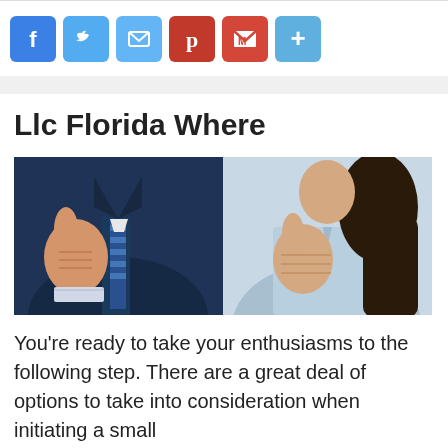[Figure (other): Social media sharing icons: Facebook (blue), Twitter (blue), Email (blue), Pinterest (red), Gmail (red), Plus/More (blue)]
Llc Florida Where
[Figure (photo): Two people giving thumbs up gestures. Left: man in dark suit with striped tie. Right: woman in light blue shirt with long dark hair.]
You’re ready to take your enthusiasms to the following step. There are a great deal of options to take into consideration when initiating a small